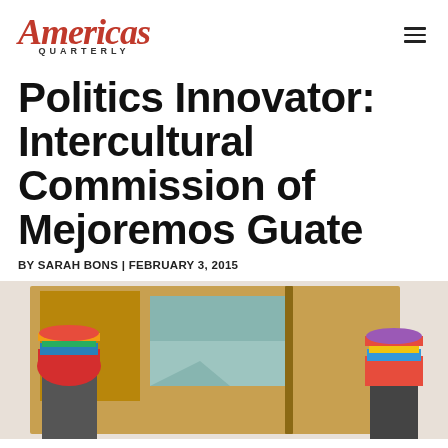Americas Quarterly
Politics Innovator: Intercultural Commission of Mejoremos Guate
BY SARAH BONS | FEBRUARY 3, 2015
[Figure (photo): Two people wearing colorful traditional Guatemalan head wraps standing in front of or near abstract artwork/paintings on a wall]